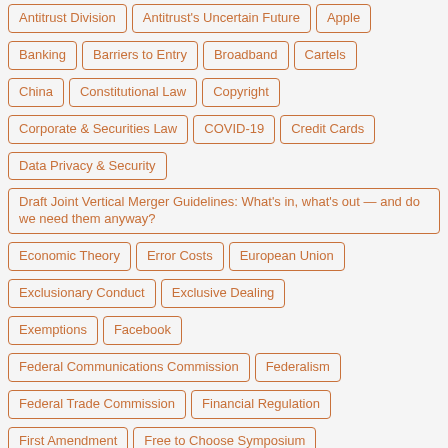Antitrust Division
Antitrust's Uncertain Future
Apple
Banking
Barriers to Entry
Broadband
Cartels
China
Constitutional Law
Copyright
Corporate & Securities Law
COVID-19
Credit Cards
Data Privacy & Security
Draft Joint Vertical Merger Guidelines: What's in, what's out — and do we need them anyway?
Economic Theory
Error Costs
European Union
Exclusionary Conduct
Exclusive Dealing
Exemptions
Facebook
Federal Communications Commission
Federalism
Federal Trade Commission
Financial Regulation
First Amendment
Free to Choose Symposium
FTC UMC Rulemaking
FTC v. Qualcomm: Analyzing the theory of the case